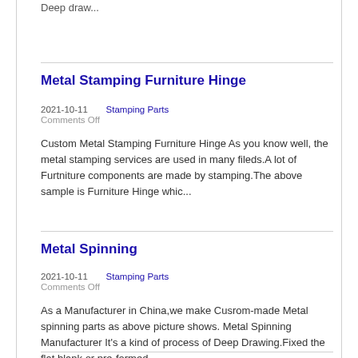Deep draw...
Metal Stamping Furniture Hinge
2021-10-11    Stamping Parts
Comments Off
Custom Metal Stamping Furniture Hinge As you know well, the metal stamping services are used in many fileds.A lot of Furtniture components are made by stamping.The above sample is Furniture Hinge whic...
Metal Spinning
2021-10-11    Stamping Parts
Comments Off
As a Manufacturer in China,we make Cusrom-made Metal spinning parts as above picture shows. Metal Spinning Manufacturer It's a kind of process of Deep Drawing.Fixed the flat blank or pre-formed
...